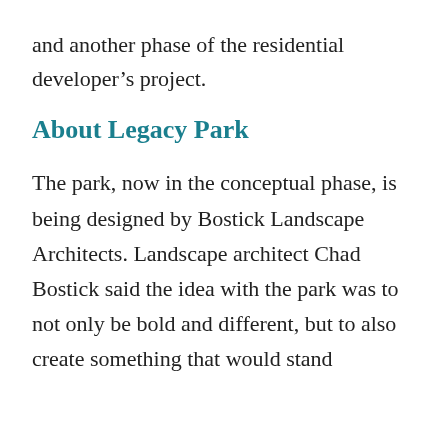and another phase of the residential developer’s project.
About Legacy Park
The park, now in the conceptual phase, is being designed by Bostick Landscape Architects. Landscape architect Chad Bostick said the idea with the park was to not only be bold and different, but to also create something that would stand